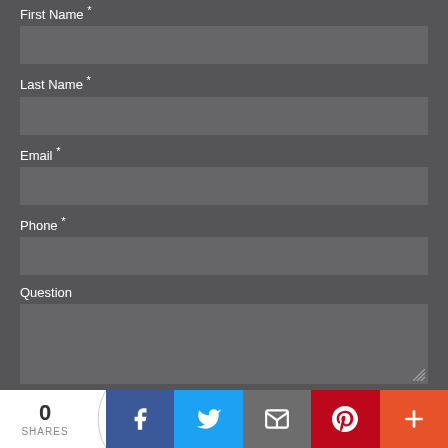First Name *
Last Name *
Email *
Phone *
Question
[Figure (other): CAPTCHA image showing distorted text '44neth' on a light background with blue lines]
Please enter the code in the image above
0 SHARES
[Figure (infographic): Social sharing bar with Facebook, Twitter, Email, Pinterest, and More buttons]